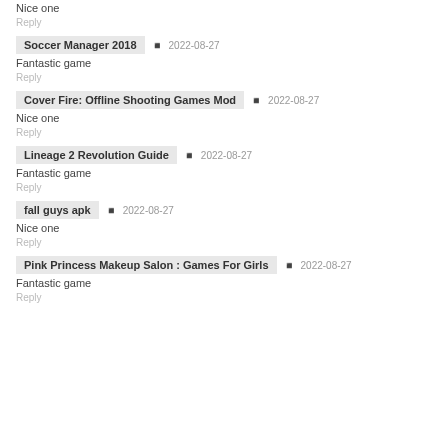Nice one
Reply
Soccer Manager 2018 · 2022-08-27
Fantastic game
Reply
Cover Fire: Offline Shooting Games Mod · 2022-08-27
Nice one
Reply
Lineage 2 Revolution Guide · 2022-08-27
Fantastic game
Reply
fall guys apk · 2022-08-27
Nice one
Reply
Pink Princess Makeup Salon : Games For Girls · 2022-08-27
Fantastic game
Reply